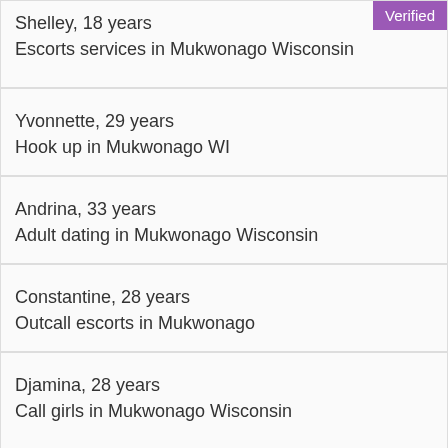Shelley, 18 years
Escorts services in Mukwonago Wisconsin
Yvonnette, 29 years
Hook up in Mukwonago WI
Andrina, 33 years
Adult dating in Mukwonago Wisconsin
Constantine, 28 years
Outcall escorts in Mukwonago
Djamina, 28 years
Call girls in Mukwonago Wisconsin